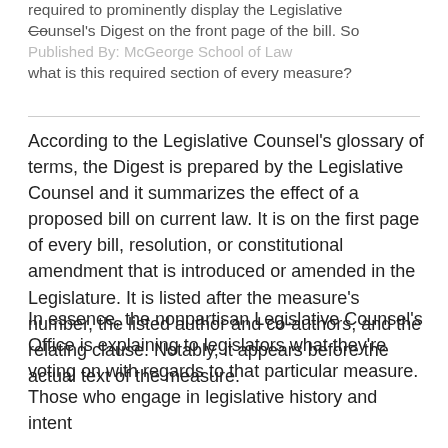required to prominently display the Legislative Counsel's Digest on the front page of the bill. So what is this required section of every measure? Published By: McGeorge School of Law
According to the Legislative Counsel's glossary of terms, the Digest is prepared by the Legislative Counsel and it summarizes the effect of a proposed bill on current law. It is on the first page of every bill, resolution, or constitutional amendment that is introduced or amended in the Legislature. It is listed after the measure's number, the listed author and co-authors, and the relating clause. Notably, it appears before the actual text of the measure.
In essence, the nonpartisan Legislative Counsel's Office is explaining to legislators what they're voting on with regards to that particular measure. Those who engage in legislative history and intent